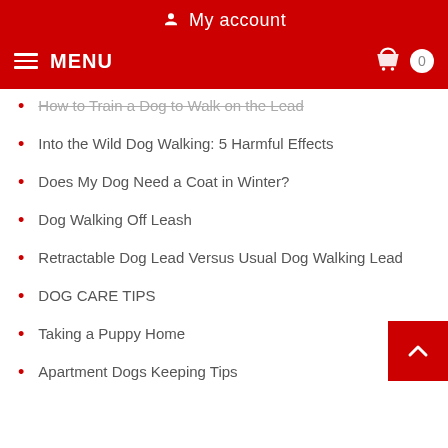My account
MENU
How to Train a Dog to Walk on the Lead
Into the Wild Dog Walking: 5 Harmful Effects
Does My Dog Need a Coat in Winter?
Dog Walking Off Leash
Retractable Dog Lead Versus Usual Dog Walking Lead
DOG CARE TIPS
Taking a Puppy Home
Apartment Dogs Keeping Tips
Dog Care in Winter
Do Dogs Feel Cold In Winter?
Dog Care Tips for Spring
15 Dog Care Tips in Summer